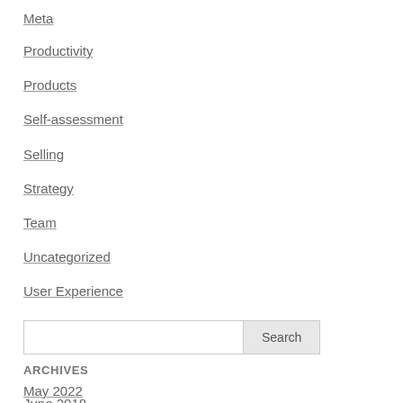Meta
Productivity
Products
Self-assessment
Selling
Strategy
Team
Uncategorized
User Experience
Search
ARCHIVES
May 2022
June 2018